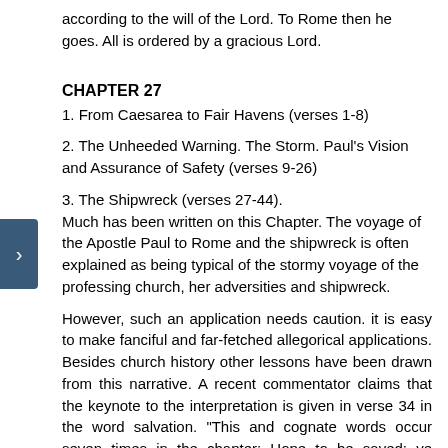according to the will of the Lord. To Rome then he goes. All is ordered by a gracious Lord.
CHAPTER 27
1. From Caesarea to Fair Havens (verses 1-8)
2. The Unheeded Warning. The Storm. Paul's Vision and Assurance of Safety (verses 9-26)
3. The Shipwreck (verses 27-44).
Much has been written on this Chapter. The voyage of the Apostle Paul to Rome and the shipwreck is often explained as being typical of the stormy voyage of the professing church, her adversities and shipwreck.
However, such an application needs caution. it is easy to make fanciful and far-fetched allegorical applications. Besides church history other lessons have been drawn from this narrative. A recent commentator claims that the keynote to the interpretation is given in verse 34 in the word salvation. "This and cognate words occur seven times in the chapter: Hope to be saved; ye cannot be